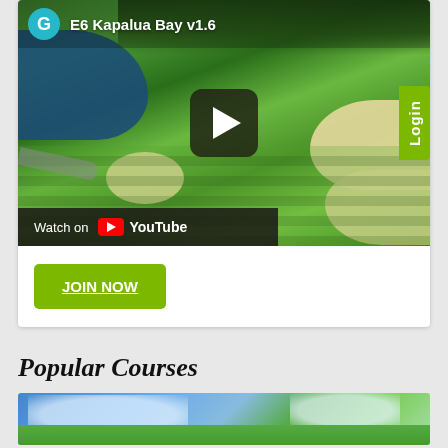[Figure (screenshot): YouTube video thumbnail for 'E6 Kapalua Bay v1.6' — aerial view of a golf course with green fairways, sand traps, water hazard, and trees. Shows G avatar icon, YouTube 'Watch on' bar, play button, and Login tab on right edge.]
JOIN NOW
Popular Courses
[Figure (photo): Partial photo strip showing golf course landscape with blue sky, clouds, and green turf — bottom of page.]